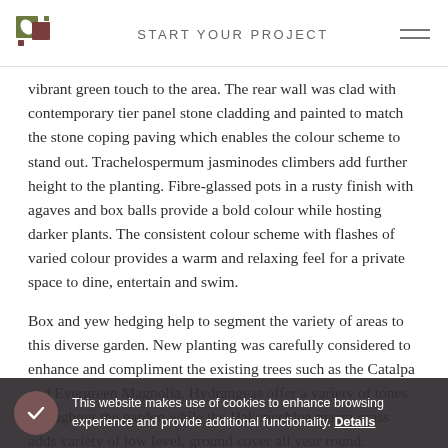START YOUR PROJECT
vibrant green touch to the area. The rear wall was clad with contemporary tier panel stone cladding and painted to match the stone coping paving which enables the colour scheme to stand out. Trachelospermum jasminodes climbers add further height to the planting. Fibre-glassed pots in a rusty finish with agaves and box balls provide a bold colour while hosting darker plants. The consistent colour scheme with flashes of varied colour provides a warm and relaxing feel for a private space to dine, entertain and swim.
Box and yew hedging help to segment the variety of areas to this diverse garden. New planting was carefully considered to enhance and compliment the existing trees such as the Catalpa and Evergreen Magnolia. Hydrangeas offer a variety of tones throughout the garden while the Hakonechloa macra grass adds variety of low level, ground cover all year round.
Lighting is a key aspect to garden design for this stylish and diverse garden spike spots, step lights and lanterns were used
This website makes use of cookies to enhance browsing experience and provide additional functionality. Details